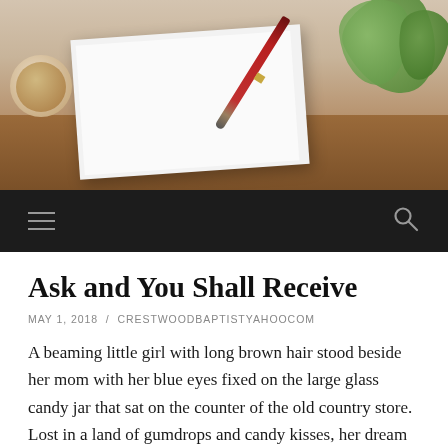[Figure (photo): Photo of a white notepad with a red pen on a wooden table surface, with green plant leaves in the upper right corner and a coffee cup in the upper left corner.]
Navigation bar with hamburger menu icon and search icon on dark background
Ask and You Shall Receive
MAY 1, 2018 / CRESTWOODBAPTISTYAHOOCOM
A beaming little girl with long brown hair stood beside her mom with her blue eyes fixed on the large glass candy jar that sat on the counter of the old country store. Lost in a land of gumdrops and candy kisses, her dream was interrupted by the sound of a kind man's voice somewhere off in the distance. In an instant she